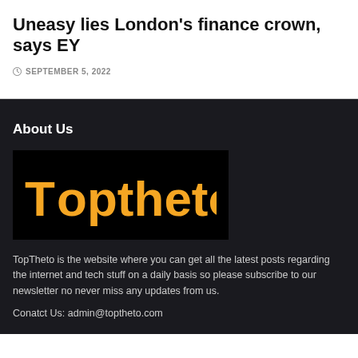Uneasy lies London's finance crown, says EY
SEPTEMBER 5, 2022
About Us
[Figure (logo): Toptheto logo — orange bold text on black background]
TopTheto is the website where you can get all the latest posts regarding the internet and tech stuff on a daily basis so please subscribe to our newsletter no never miss any updates from us.
Conatct Us: admin@toptheto.com